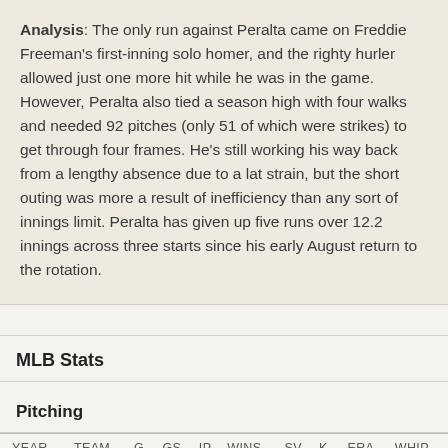Analysis: The only run against Peralta came on Freddie Freeman's first-inning solo homer, and the righty hurler allowed just one more hit while he was in the game. However, Peralta also tied a season high with four walks and needed 92 pitches (only 51 of which were strikes) to get through four frames. He's still working his way back from a lengthy absence due to a lat strain, but the short outing was more a result of inefficiency than any sort of innings limit. Peralta has given up five runs over 12.2 innings across three starts since his early August return to the rotation.
MLB Stats
Pitching
| YEAR | TEAM | G | GS | IP | WINS | SV | K | ERA | WHIP |
| --- | --- | --- | --- | --- | --- | --- | --- | --- | --- |